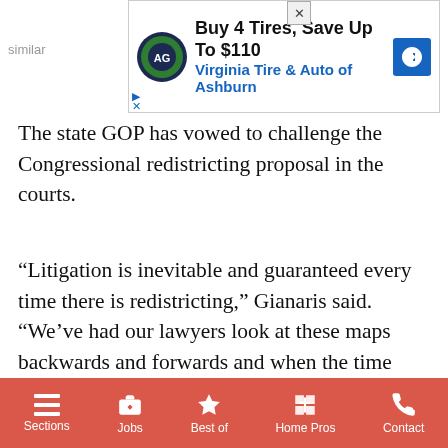[Figure (other): Advertisement banner: Buy 4 Tires, Save Up To $110 - Virginia Tire & Auto of Ashburn]
The state GOP has vowed to challenge the Congressional redistricting proposal in the courts.
“Litigation is inevitable and guaranteed every time there is redistricting,” Gianaris said. “We’ve had our lawyers look at these maps backwards and forwards and when the time comes we’re confident we will make our case to the courts and be successful.”
[Figure (other): Social media sharing buttons: Facebook, Twitter, Email, More (+)]
COMMENTS
Sections | Jobs | Best of | Home Pros | Contact